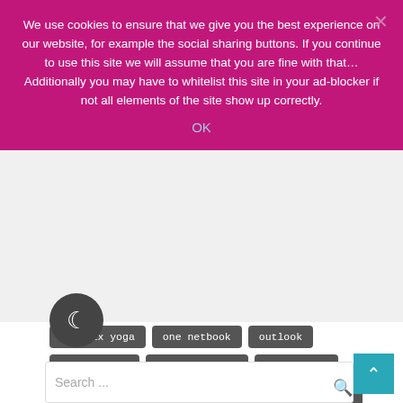We use cookies to ensure that we give you the best experience on our website, for example the social sharing buttons. If you continue to use this site we will assume that you are fine with that… Additionally you may have to whitelist this site in your ad-blocker if not all elements of the site show up correctly.
OK
one mix yoga
one netbook
outlook
pen support
pocket laptop
purity pro
pwa
review
security
spotify
store
swarm
tips
user review
wh-h900n
windows 10
windows mobile
ows phone
yoga
zeiss